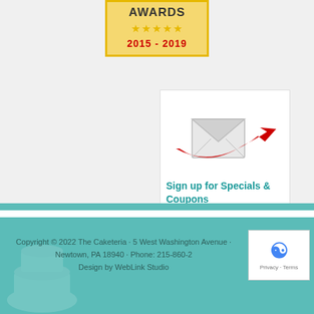[Figure (illustration): Awards badge with gold/yellow background, bold text 'AWARDS', five gold stars, and red text '2015 - 2019']
[Figure (illustration): Email envelope with red swoosh arrow, captioned 'Sign up for Specials & Coupons']
Copyright © 2022 The Caketeria · 5 West Washington Avenue · Newtown, PA 18940 · Phone: 215-860-2... Design by WebLink Studio